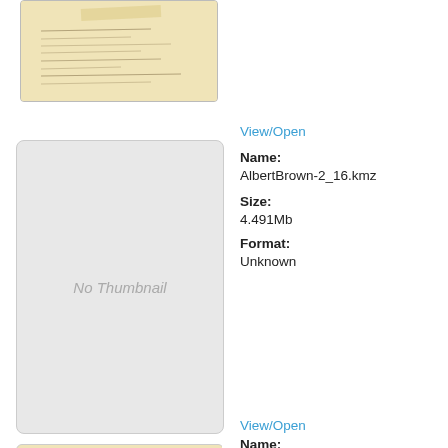[Figure (photo): Scanned handwritten document thumbnail at top left]
[Figure (photo): No Thumbnail placeholder box]
View/Open
Name:
AlbertBrown-2_16.kmz
Size:
4.491Mb
Format:
Unknown
View/Open
Name: